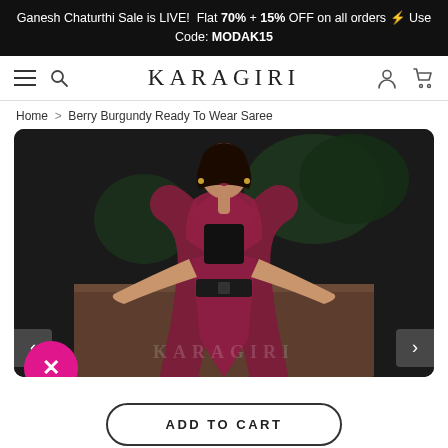Ganesh Chaturthi Sale is LIVE!  Flat 70% + 15% OFF on all orders ⚡ Use Code: MODAK15
[Figure (screenshot): Karagiri e-commerce website navigation bar with hamburger menu, search icon, KARAGIRI logo, user account icon, and cart icon]
Home > Berry Burgundy Ready To Wear Saree
[Figure (photo): A woman model wearing a berry burgundy ready-to-wear saree with a black belt, posing with hands on hips against a dark outdoor background]
ADD TO CART